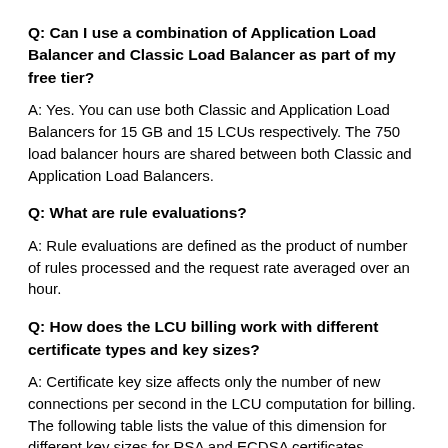Q: Can I use a combination of Application Load Balancer and Classic Load Balancer as part of my free tier?
A: Yes. You can use both Classic and Application Load Balancers for 15 GB and 15 LCUs respectively. The 750 load balancer hours are shared between both Classic and Application Load Balancers.
Q: What are rule evaluations?
A: Rule evaluations are defined as the product of number of rules processed and the request rate averaged over an hour.
Q: How does the LCU billing work with different certificate types and key sizes?
A: Certificate key size affects only the number of new connections per second in the LCU computation for billing. The following table lists the value of this dimension for different key sizes for RSA and ECDSA certificates.